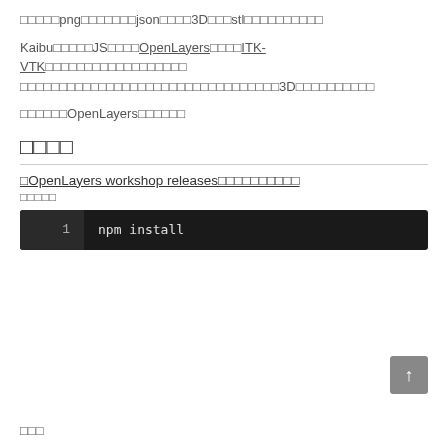□□□□□png□□□□□□□json□□□□3D□□□stl□□□□□□□□□□
Kaibu□□□□□JS□□□□OpenLayers□□□□ITK-VTK□□□□□□□□□□□□□□□□□□□□□□□□□□□□□□□□□□□□□□□□□□□□□□3D□□□□□□□□□□
□□□□□□OpenLayers□□□□□□
□□□□
□OpenLayers workshop releases□□□□□□□□□□
□□□□□
npm install
□□□